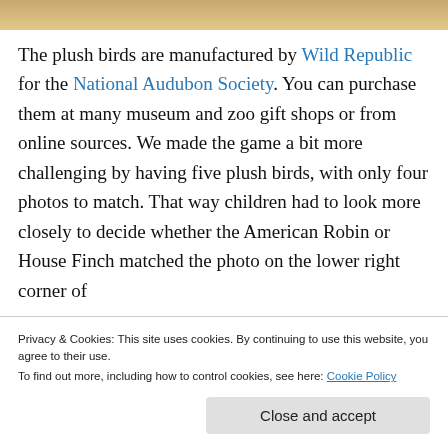[Figure (photo): Partial view of plush bird toys at the top of the page, showing warm tan and golden tones.]
The plush birds are manufactured by Wild Republic for the National Audubon Society. You can purchase them at many museum and zoo gift shops or from online sources. We made the game a bit more challenging by having five plush birds, with only four photos to match. That way children had to look more closely to decide whether the American Robin or House Finch matched the photo on the lower right corner of
Privacy & Cookies: This site uses cookies. By continuing to use this website, you agree to their use.
To find out more, including how to control cookies, see here: Cookie Policy